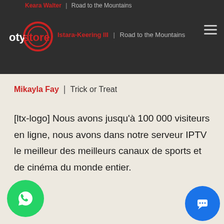Keara Walter | Road to the Mountains
[Figure (logo): OtyStore logo with red circular graphic and white/red text]
Istara-Keering III | Road to the Mountains
Mikayla Fay | Trick or Treat
[ltx-logo] Nous avons jusqu'à 100 000 visiteurs en ligne, nous avons dans notre serveur IPTV le meilleur des meilleurs canaux de sports et de cinéma du monde entier.
[Figure (logo): WhatsApp green circular button icon]
[Figure (logo): Blue chat/message circular button icon]